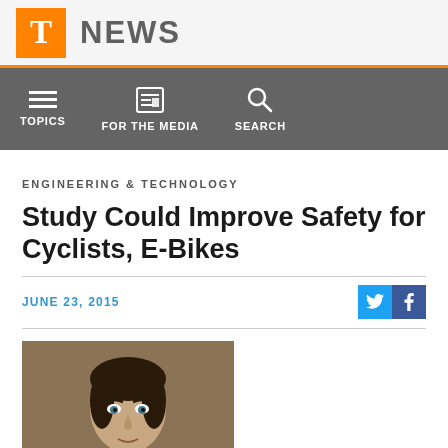T NEWS
TOPICS | FOR THE MEDIA | SEARCH
ENGINEERING & TECHNOLOGY
Study Could Improve Safety for Cyclists, E-Bikes
JUNE 23, 2015
[Figure (photo): Headshot of a man with dark hair against a brown/tan background]